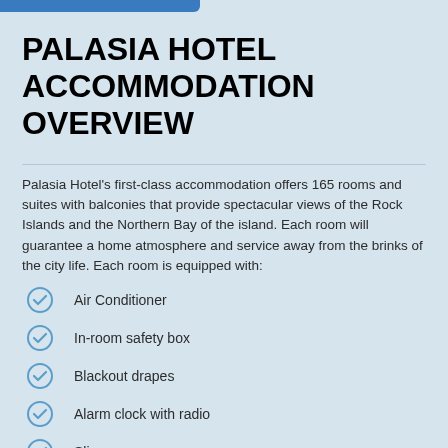PALASIA HOTEL ACCOMMODATION OVERVIEW
Palasia Hotel's first-class accommodation offers 165 rooms and suites with balconies that provide spectacular views of the Rock Islands and the Northern Bay of the island. Each room will guarantee a home atmosphere and service away from the brinks of the city life. Each room is equipped with:
Air Conditioner
In-room safety box
Blackout drapes
Alarm clock with radio
Slippers
Umbrella
Cable Television